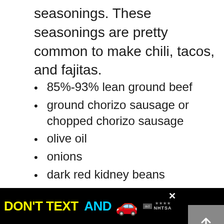seasonings. These seasonings are pretty common to make chili, tacos, and fajitas.
85%-93% lean ground beef
ground chorizo sausage or chopped chorizo sausage
olive oil
onions
dark red kidney beans
canned diced tomatoes
tomato paste
chili powder
cumin
[Figure (screenshot): Advertisement banner: DON'T TEXT AND [car emoji] ad with NHTSA logo and close button]